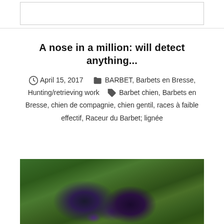A nose in a million: will detect anything...
April 15, 2017   BARBET, Barbets en Bresse, Hunting/retrieving work   Barbet chien, Barbets en Bresse, chien de compagnie, chien gentil, races à faible effectif, Raceur du Barbet; lignée
[Figure (photo): A dark curly-haired Barbet dog sniffing or playing on green grass]